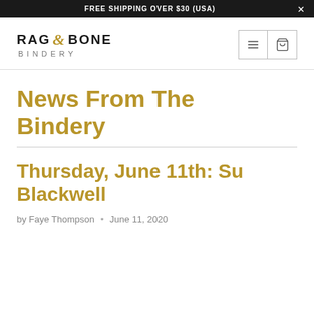FREE SHIPPING OVER $30 (USA)
[Figure (logo): Rag & Bone Bindery logo with navigation menu and cart icons]
News From The Bindery
Thursday, June 11th: Su Blackwell
by Faye Thompson • June 11, 2020